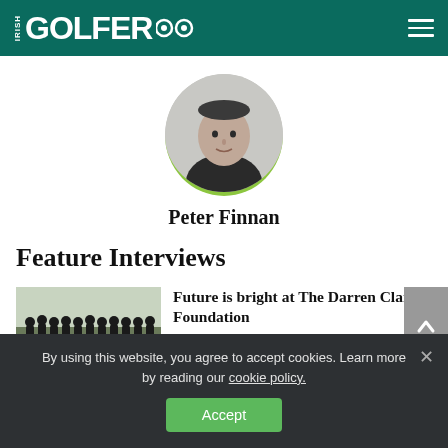IRISH GOLFER
[Figure (photo): Circular profile photo of Peter Finnan, a man in a dark shirt, on a light grey background with a green bottom border]
Peter Finnan
Feature Interviews
[Figure (photo): Thumbnail image of a group of golfers posing outdoors on a golf course]
Future is bright at The Darren Clarke Foundation
Feature Interviews, Latest News
By using this website, you agree to accept cookies. Learn more by reading our cookie policy.